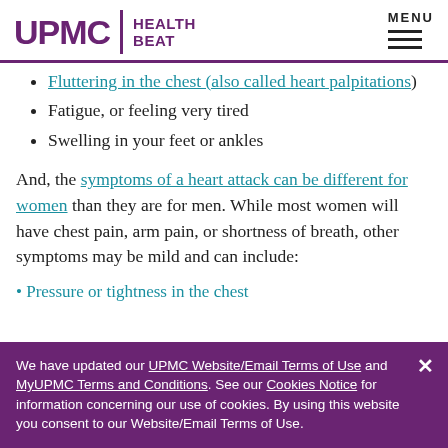UPMC HEALTH BEAT
Fluttering in the chest (also called heart palpitations)
Fatigue, or feeling very tired
Swelling in your feet or ankles
And, the symptoms of a heart attack can be different for women than they are for men. While most women will have chest pain, arm pain, or shortness of breath, other symptoms may be mild and can include:
We have updated our UPMC Website/Email Terms of Use and MyUPMC Terms and Conditions. See our Cookies Notice for information concerning our use of cookies. By using this website you consent to our Website/Email Terms of Use.